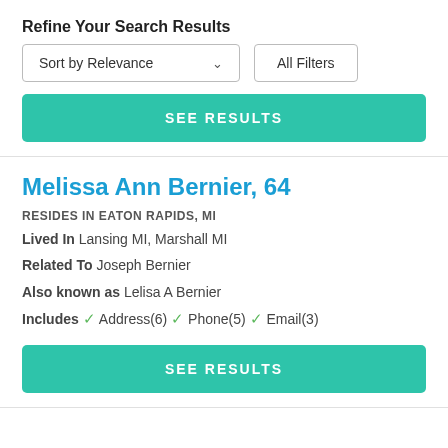Refine Your Search Results
[Figure (screenshot): Sort by Relevance dropdown button and All Filters button]
[Figure (screenshot): SEE RESULTS teal button]
Melissa Ann Bernier, 64
RESIDES IN EATON RAPIDS, MI
Lived In Lansing MI, Marshall MI
Related To Joseph Bernier
Also known as Lelisa A Bernier
Includes ✓ Address(6) ✓ Phone(5) ✓ Email(3)
[Figure (screenshot): SEE RESULTS teal button bottom]